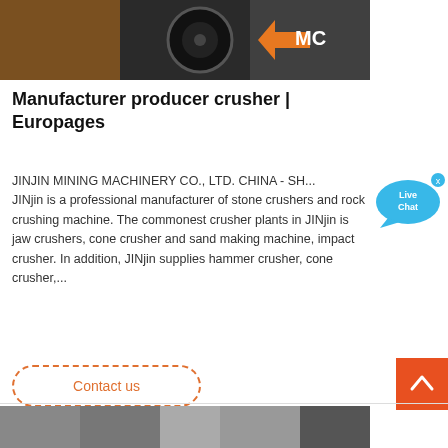[Figure (photo): Industrial machinery photo with AMC logo/branding visible in orange and white on dark background]
Manufacturer producer crusher | Europages
JINJIN MINING MACHINERY CO., LTD. CHINA - SH... JINjin is a professional manufacturer of stone crushers and rock crushing machine. The commonest crusher plants in JINjin is jaw crushers, cone crusher and sand making machine, impact crusher. In addition, JINjin supplies hammer crusher, cone crusher,...
[Figure (other): Live Chat bubble widget in blue]
Contact us
[Figure (photo): Bottom industrial machinery/equipment photo, partially visible]